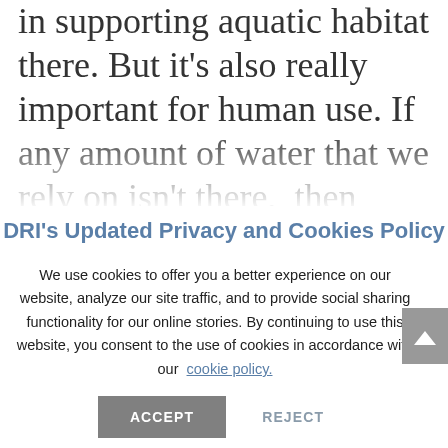in supporting aquatic habitat there. But it's also really important for human use. If any amount of water that we rely on isn't there,  then something has to give. The Upper Basin will
DRI's Updated Privacy and Cookies Policy
We use cookies to offer you a better experience on our website, analyze our site traffic, and to provide social sharing functionality for our online stories. By continuing to use this website, you consent to the use of cookies in accordance with our  cookie policy.
ACCEPT   REJECT